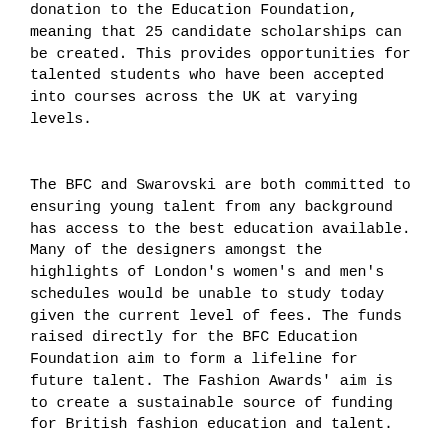donation to the Education Foundation, meaning that 25 candidate scholarships can be created. This provides opportunities for talented students who have been accepted into courses across the UK at varying levels.
The BFC and Swarovski are both committed to ensuring young talent from any background has access to the best education available. Many of the designers amongst the highlights of London's women's and men's schedules would be unable to study today given the current level of fees. The funds raised directly for the BFC Education Foundation aim to form a lifeline for future talent. The Fashion Awards' aim is to create a sustainable source of funding for British fashion education and talent.